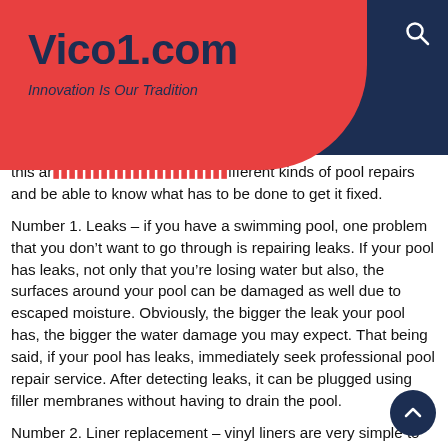Vico1.com – Innovation Is Our Tradition
this ar... different kinds of pool repairs and be able to know what has to be done to get it fixed.
Number 1. Leaks – if you have a swimming pool, one problem that you don't want to go through is repairing leaks. If your pool has leaks, not only that you're losing water but also, the surfaces around your pool can be damaged as well due to escaped moisture. Obviously, the bigger the leak your pool has, the bigger the water damage you may expect. That being said, if your pool has leaks, immediately seek professional pool repair service. After detecting leaks, it can be plugged using filler membranes without having to drain the pool.
Number 2. Liner replacement – vinyl liners are very simple to install and best of all, it is super affordable to get your hands on one. On the other hand, you need to know that they are open to early wears and